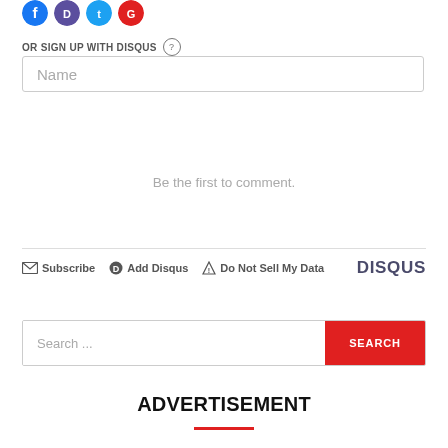[Figure (other): Social media icon buttons (Facebook blue, purple, Twitter blue, red) at top left]
OR SIGN UP WITH DISQUS ?
Name
Be the first to comment.
Subscribe  Add Disqus  Do Not Sell My Data  DISQUS
Search ...
ADVERTISEMENT